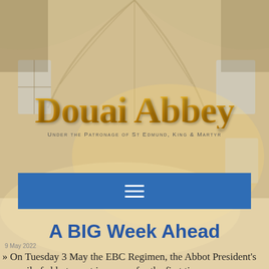[Figure (photo): Gothic church interior background with ribbed vaulted ceiling and stained glass windows, warm golden-beige tones]
Douai Abbey
Under the Patronage of St Edmund, King & Martyr
[Figure (screenshot): Blue navigation bar with white hamburger menu icon (three horizontal lines)]
A BIG Week Ahead
9 May 2022
» On Tuesday 3 May the EBC Regimen, the Abbot President's council of abbots, met in person for the first time